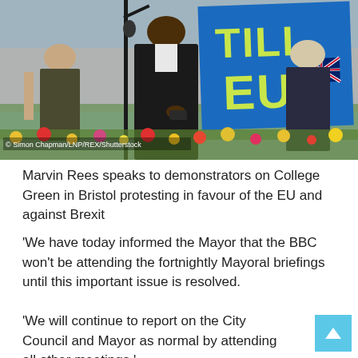[Figure (photo): Marvin Rees speaks at a microphone stand outdoors on College Green in Bristol. Behind him is a large blue EU banner with yellow-green text reading 'STILL EU' and a small Union Jack flag. A woman stands to his left and an older person to his right. Flowers are visible in the foreground. Photo credit: © Simon Chapman/LNP/REX/Shutterstock]
Marvin Rees speaks to demonstrators on College Green in Bristol protesting in favour of the EU and against Brexit
'We have today informed the Mayor that the BBC won't be attending the fortnightly Mayoral briefings until this important issue is resolved.
'We will continue to report on the City Council and Mayor as normal by attending all other meetings.'